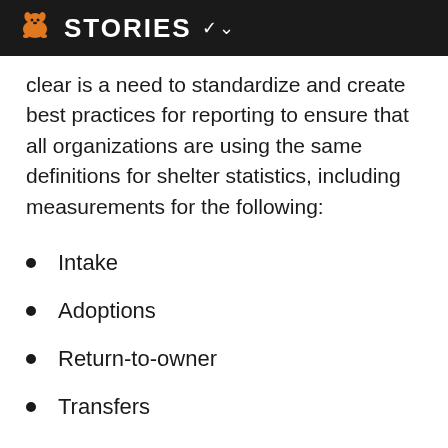STORIES
clear is a need to standardize and create best practices for reporting to ensure that all organizations are using the same definitions for shelter statistics, including measurements for the following:
Intake
Adoptions
Return-to-owner
Transfers